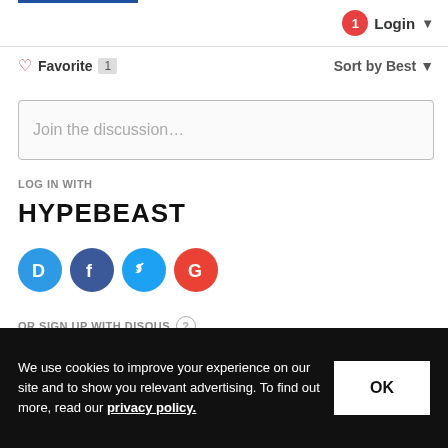Login
Favorite 1   Sort by Best
Join the discussion...
LOG IN WITH
HYPEBEAST
[Figure (logo): Social login icons: Disqus (D), Facebook (f), Twitter bird, Google (G)]
OR SIGN UP WITH DISQUS
Name
We use cookies to improve your experience on our site and to show you relevant advertising. To find out more, read our privacy policy.